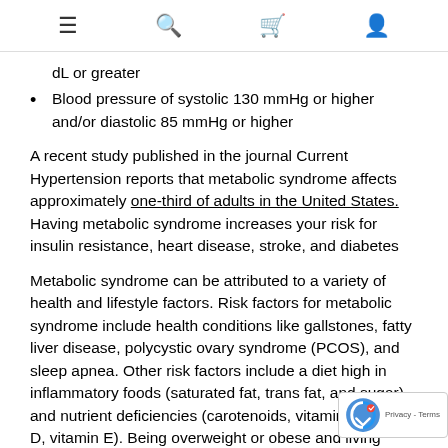≡  🔍  🛒  👤
dL or greater
Blood pressure of systolic 130 mmHg or higher and/or diastolic 85 mmHg or higher
A recent study published in the journal Current Hypertension reports that metabolic syndrome affects approximately one-third of adults in the United States. Having metabolic syndrome increases your risk for insulin resistance, heart disease, stroke, and diabetes
Metabolic syndrome can be attributed to a variety of health and lifestyle factors. Risk factors for metabolic syndrome include health conditions like gallstones, fatty liver disease, polycystic ovary syndrome (PCOS), and sleep apnea. Other risk factors include a diet high in inflammatory foods (saturated fat, trans fat, and sugar) and nutrient deficiencies (carotenoids, vitamin B, vitamin D, vitamin E). Being overweight or obese and living a sedentary lifestyle also put you at risk.